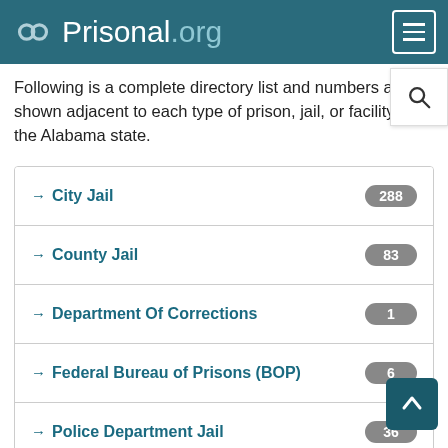Prisonal.org
Following is a complete directory list and numbers are shown adjacent to each type of prison, jail, or facility, in the Alabama state.
City Jail — 288
County Jail — 83
Department Of Corrections — 1
Federal Bureau of Prisons (BOP) — 6
Police Department Jail — 36
Private Facility — 2